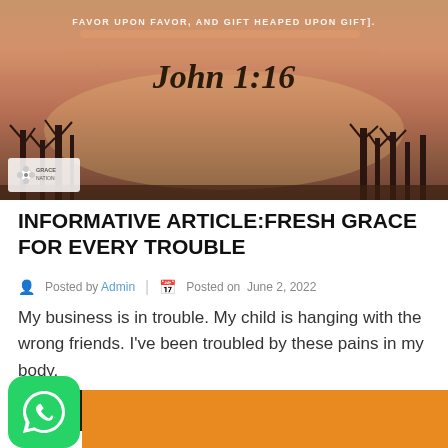[Figure (photo): Website banner with sunset/dusk landscape photo showing silhouetted trees against an orange-pink sky, with text overlay reading 'FAVOR UPON FAVOR, AND GIFT HEAPED UPON GIFT].' and 'John 1:16' in stylized script. A small logo is in the bottom-left corner of the banner.]
INFORMATIVE ARTICLE:FRESH GRACE FOR EVERY TROUBLE
Posted by Admin | Posted on June 2, 2022
My business is in trouble. My child is hanging with the wrong friends. I've been troubled by these pains in my body.
Read More
[Figure (other): WhatsApp icon (green rounded square with white phone handset symbol) in the bottom-left, next to an orange rectangular banner area.]